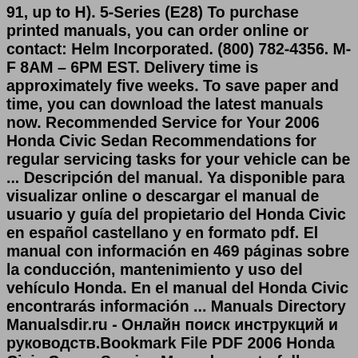91, up to H). 5-Series (E28) To purchase printed manuals, you can order online or contact: Helm Incorporated. (800) 782-4356. M-F 8AM – 6PM EST. Delivery time is approximately five weeks. To save paper and time, you can download the latest manuals now. Recommended Service for Your 2006 Honda Civic Sedan Recommendations for regular servicing tasks for your vehicle can be ... Descripción del manual. Ya disponible para visualizar online o descargar el manual de usuario y guía del propietario del Honda Civic en español castellano y en formato pdf. El manual con información en 469 páginas sobre la conducción, mantenimiento y uso del vehículo Honda. En el manual del Honda Civic encontrarás información ... Manuals Directory Manualsdir.ru - Онлайн поиск инструкций и руководств.Bookmark File PDF 2006 Honda Civic Coupe Service Manual easy to follow. From simple maintenance to trouble-shooting and complete engine rebuilds, it's easy with Haynes. BMW 3- & 5-Series Petrol (81 - 91) up to J 3-Series (E30) 316, 316i, 318i,